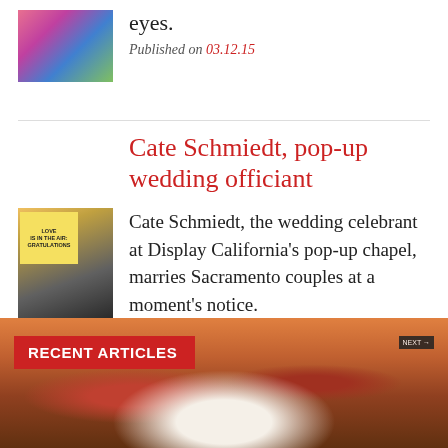[Figure (photo): Thumbnail photo of a person in colorful clothing]
eyes.
Published on 03.12.15
Cate Schmiedt, pop-up wedding officiant
[Figure (photo): Woman standing next to a marquee sign reading LOVE IS IN THE AIR CONGRATULATIONS]
Cate Schmiedt, the wedding celebrant at Display California's pop-up chapel, marries Sacramento couples at a moment's notice.
Published on 03.05.15
[Figure (photo): Food photo showing a bowl of gumbo or stew with rice and crawfish]
RECENT ARTICLES